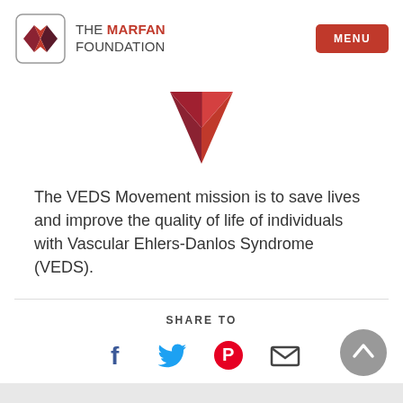THE MARFAN FOUNDATION | MENU
[Figure (logo): The Marfan Foundation logo with interlocking diamond shapes in dark red/maroon and purple, beside text 'THE MARFAN FOUNDATION']
[Figure (illustration): A downward-pointing chevron/arrow shape in dark red with a lighter red facet, decorative icon for VEDS Movement]
The VEDS Movement mission is to save lives and improve the quality of life of individuals with Vascular Ehlers-Danlos Syndrome (VEDS).
SHARE TO
[Figure (infographic): Social sharing icons: Facebook (blue f), Twitter (blue bird), Pinterest (red circle P), Email (envelope)]